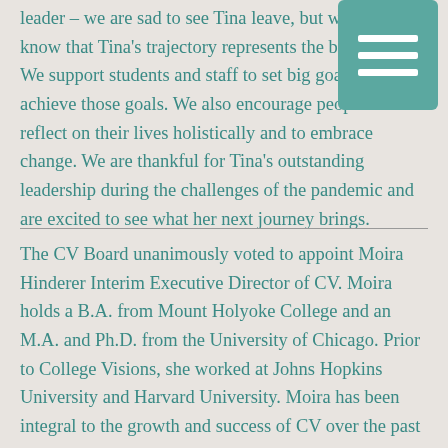leader – we are sad to see Tina leave, but we also know that Tina's trajectory represents the best of CV. We support students and staff to set big goals and achieve those goals. We also encourage people to reflect on their lives holistically and to embrace change. We are thankful for Tina's outstanding leadership during the challenges of the pandemic and are excited to see what her next journey brings.
The CV Board unanimously voted to appoint Moira Hinderer Interim Executive Director of CV. Moira holds a B.A. from Mount Holyoke College and an M.A. and Ph.D. from the University of Chicago. Prior to College Visions, she worked at Johns Hopkins University and Harvard University. Moira has been integral to the growth and success of CV over the past seven years. She previously served as Co-Acting Director of CV and we appreciate her leadership during this transition.